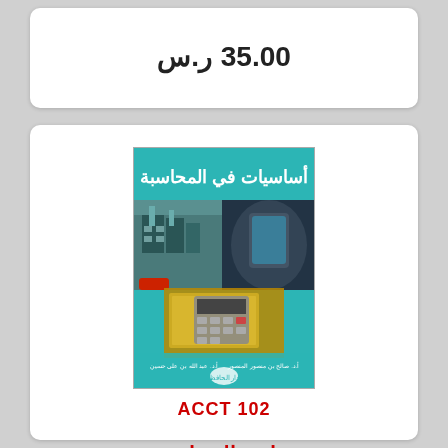35.00 ر.س
[Figure (illustration): Book cover for 'أساسيات في المحاسبة' (Fundamentals of Accounting) - a teal/turquoise colored book with Arabic title at top and collage of business images including buildings, calculator, phone, and currency on the cover]
ACCT 102
مبادئ المحاسبة